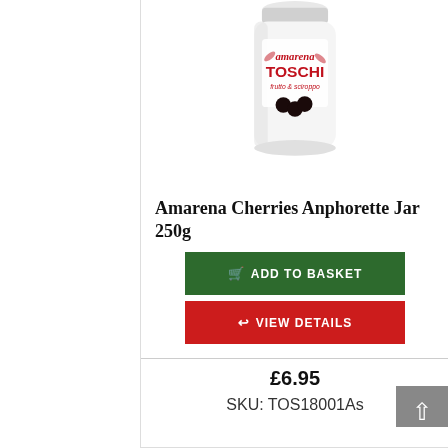[Figure (photo): Amarena Toschi Anphorette Jar 250g product photo — white ceramic jar with red Amarena Toschi branding and dark cherries illustration]
Amarena Cherries Anphorette Jar 250g
ADD TO BASKET
VIEW DETAILS
£6.95
SKU: TOS18001As